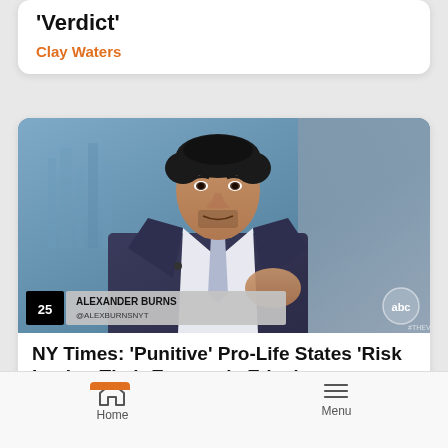Verdict'
Clay Waters
[Figure (screenshot): TV screenshot of Alexander Burns (@AlexBurnsNYT) appearing on ABC's The View, wearing a dark suit and light tie, gesturing with his hand. Lower third chyron visible with his name and Twitter handle. ABC logo in bottom right corner.]
NY Times: 'Punitive' Pro-Life States 'Risk Losing Their Economic Edge'
Home   Menu